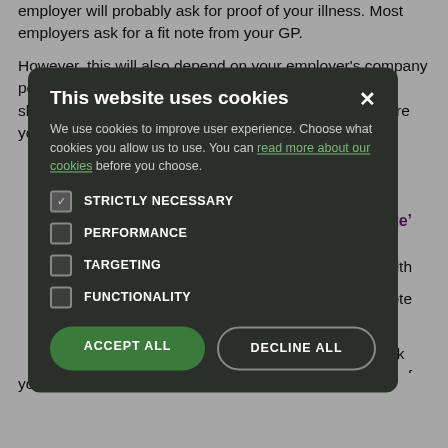employer will probably ask for proof of your illness. Most employers ask for a fit note from your GP.
However, this will also depend on your employer's company policy on sick leave (or sickness absence). This policy should tell you how many days you can be off sick before you need to provide proof of illness or a fit note.
...one who is not a ...oyer will decide ...your employer ...cal certificate
Note'
...ing the health
...g for a Fit Note
...With your ...eturn to work ...t the effects of your illness or injury.
[Figure (screenshot): Cookie consent modal dialog with dark background. Title: 'This website uses cookies'. Body text explaining cookies usage with a link 'read more about our cookies'. Four checkboxes: STRICTLY NECESSARY (checked), PERFORMANCE (unchecked), TARGETING (unchecked), FUNCTIONALITY (unchecked). Two buttons: ACCEPT ALL (green) and DECLINE ALL (outlined). Close X button in top right.]